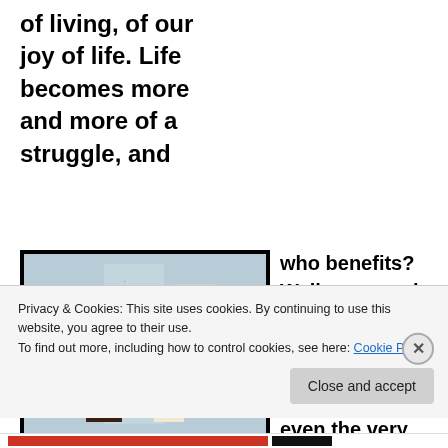of living, of our joy of life. Life becomes more and more of a struggle, and
[Figure (photo): An ancient Egyptian-themed scene showing two figures, one adorned with Egyptian headdress and jewelry, the other placing hands on the first figure's shoulders.]
who benefits? Well we see who benefits. We now have a new super rich class which is above even the very
Privacy & Cookies: This site uses cookies. By continuing to use this website, you agree to their use.
To find out more, including how to control cookies, see here: Cookie Policy